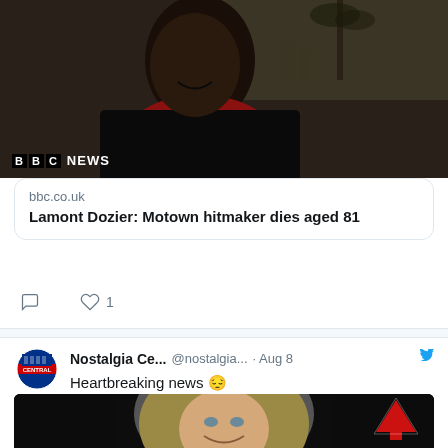[Figure (screenshot): BBC News thumbnail showing a man smiling outdoors with palm trees, with BBC NEWS logo overlay]
bbc.co.uk
Lamont Dozier: Motown hitmaker dies aged 81
♡ 1
Nostalgia Ce... @nostalgia... · Aug 8
Heartbreaking news 😔
theguardian.com/film/2022/aug/...
[Figure (photo): Photo of a smiling blonde woman against a dark background, with a red upward arrow overlay in the bottom right corner]